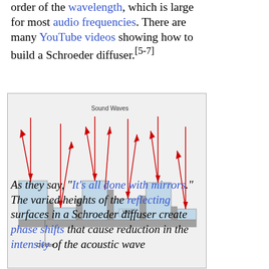order of the wavelength, which is large for most audio frequencies. There are many YouTube videos showing how to build a Schroeder diffuser.[5-7]
[Figure (illustration): Diagram of a Schroeder diffuser showing wells of varying depths separated by dividers, with red arrows indicating sound waves reflecting at different angles. Labels indicate 'Sound Waves', 'Well', and 'Divider'.]
As they say, "It's all done with mirrors." The varied heights of the reflecting surfaces in a Schroeder diffuser create phase shifts that cause reduction in the intensity of the acoustic wave